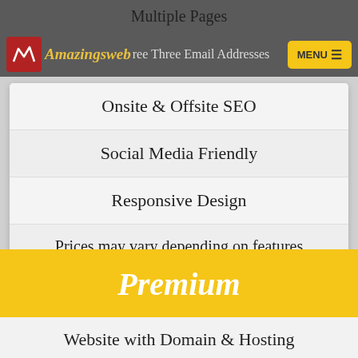Multiple Pages
Amazingsweb | Free Three Email Addresses | MENU
Onsite & Offsite SEO
Social Media Friendly
Responsive Design
Prices may vary depending on features
Sign Up
Premium
Website with Domain & Hosting